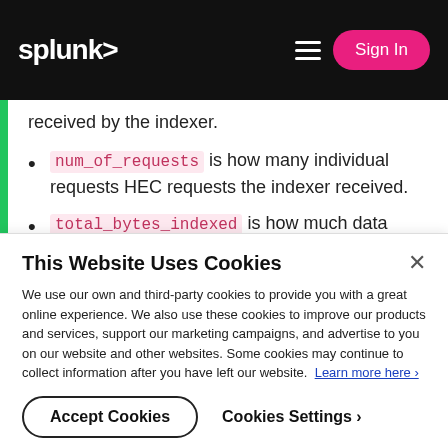splunk> Sign In
received by the indexer.
num_of_requests is how many individual requests HEC requests the indexer received.
total_bytes_indexed is how much data was ingested via HEC
total_bytes_received is how much data was received by HEC, including headers, other non-
This Website Uses Cookies
We use our own and third-party cookies to provide you with a great online experience. We also use these cookies to improve our products and services, support our marketing campaigns, and advertise to you on our website and other websites. Some cookies may continue to collect information after you have left our website. Learn more here >
Accept Cookies    Cookies Settings ›